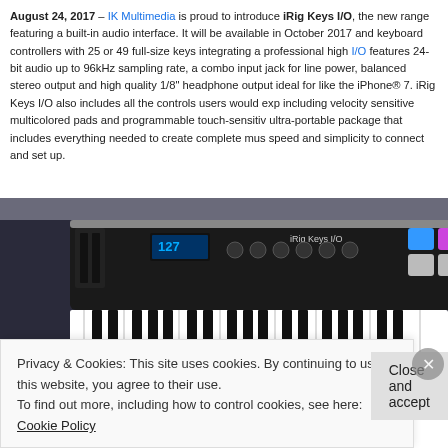August 24, 2017 – IK Multimedia is proud to introduce iRig Keys I/O, the new range featuring a built-in audio interface. It will be available in October 2017 and keyboard controllers with 25 or 49 full-size keys integrating a professional high I/O features 24-bit audio up to 96kHz sampling rate, a combo input jack for line power, balanced stereo output and high quality 1/8" headphone output ideal for like the iPhone® 7. iRig Keys I/O also includes all the controls users would expect including velocity sensitive multicolored pads and programmable touch-sensitive ultra-portable package that includes everything needed to create complete music speed and simplicity to connect and set up.
[Figure (photo): Photo of iRig Keys I/O MIDI keyboard controller with colorful pads (blue, purple, red, white) on a dark background showing piano keys]
Privacy & Cookies: This site uses cookies. By continuing to use this website, you agree to their use.
To find out more, including how to control cookies, see here: Cookie Policy